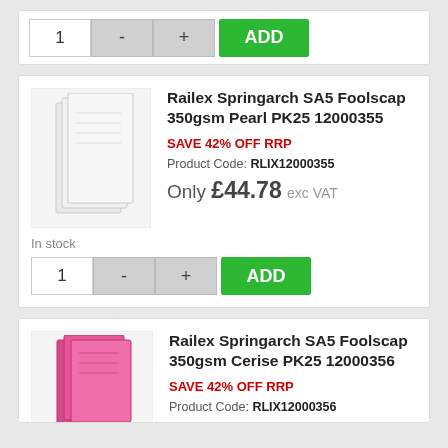1 - + ADD
Railex Springarch SA5 Foolscap 350gsm Pearl PK25 12000355
SAVE 42% OFF RRP
Product Code: RLIX12000355
Only £44.78 exc VAT
In stock
1 - + ADD
Railex Springarch SA5 Foolscap 350gsm Cerise PK25 12000356
SAVE 42% OFF RRP
Product Code: RLIX12000356